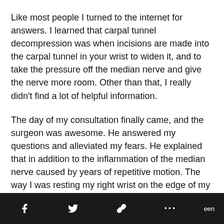Like most people I turned to the internet for answers. I learned that carpal tunnel decompression was when incisions are made into the carpal tunnel in your wrist to widen it, and to take the pressure off the median nerve and give the nerve more room. Other than that, I really didn't find a lot of helpful information.
The day of my consultation finally came, and the surgeon was awesome. He answered my questions and alleviated my fears. He explained that in addition to the inflammation of the median nerve caused by years of repetitive motion. The way I was resting my right wrist on the edge of my desk when I used my mouse had compressed the nerve even more. He was going to perform the surgery endoscopically so that meant only a tiny incision and very quick recovery time. From start to
f  [twitter] [link] ...  een  n nerve